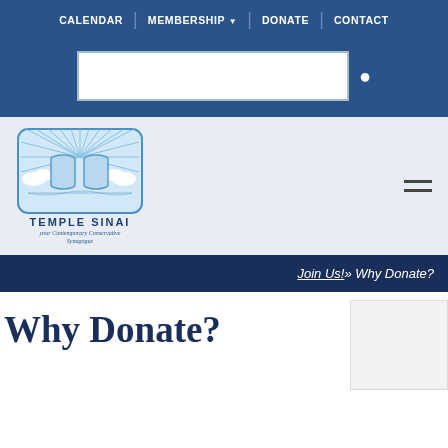CALENDAR | MEMBERSHIP ▾ | DONATE | CONTACT
[Figure (logo): Temple Sinai logo with two stone tablets and radiating sun rays, clouds, text: TEMPLE SINAI your Contemporary Conservative Synagogue]
Join Us!» Why Donate?
Why Donate?